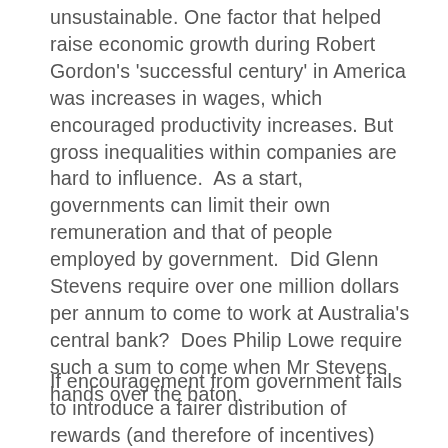unsustainable. One factor that helped raise economic growth during Robert Gordon's 'successful century' in America was increases in wages, which encouraged productivity increases. But gross inequalities within companies are hard to influence.  As a start, governments can limit their own remuneration and that of people employed by government.  Did Glenn Stevens require over one million dollars per annum to come to work at Australia's central bank?  Does Philip Lowe require such a sum to come when Mr Stevens hands over the baton.
If encouragement from government fails to introduce a fairer distribution of rewards (and therefore of incentives)